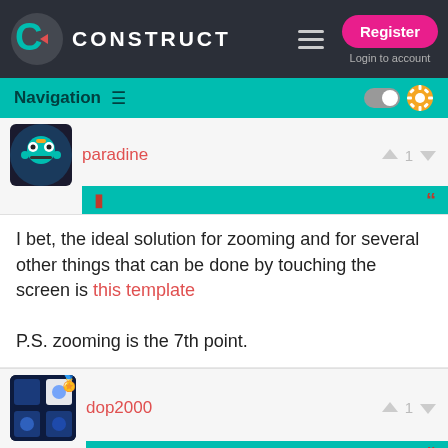CONSTRUCT — Register / Login to account
Navigation
paradine — thumbs up 1 thumbs down
I bet, the ideal solution for zooming and for several other things that can be done by touching the screen is this template

P.S. zooming is the 7th point.
dop2000 — thumbs up 1 thumbs down
Like I said, it's quite easy:

https://www.dropbox.com/s/p40ibb75m9g8z